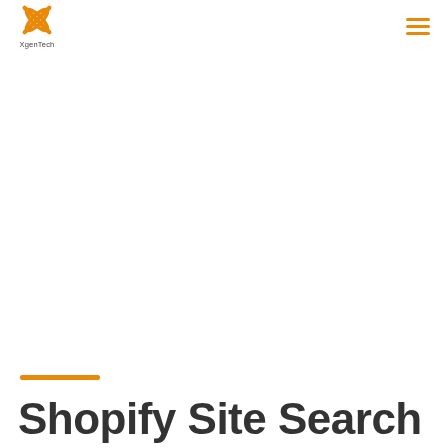[Figure (logo): XgenTech logo: orange X-shaped cross icon with text 'XgenTech' below]
[Figure (other): Hamburger menu icon: three horizontal orange lines]
Shopify Site Search